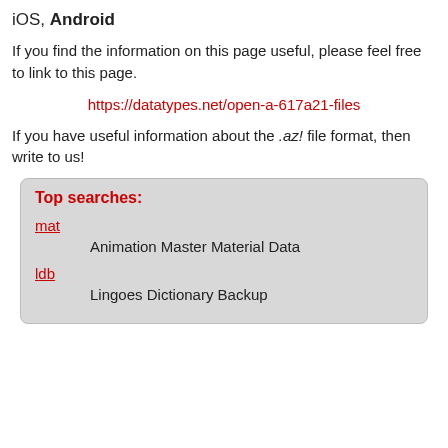iOS, Android
If you find the information on this page useful, please feel free to link to this page.
https://datatypes.net/open-a-617a21-files
If you have useful information about the .az! file format, then write to us!
Top searches:
mat — Animation Master Material Data
ldb — Lingoes Dictionary Backup